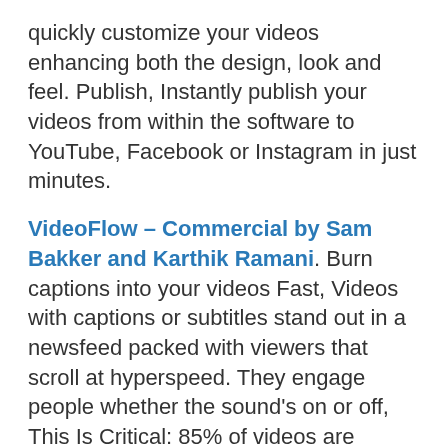quickly customize your videos enhancing both the design, look and feel. Publish, Instantly publish your videos from within the software to YouTube, Facebook or Instagram in just minutes.
VideoFlow – Commercial by Sam Bakker and Karthik Ramani. Burn captions into your videos Fast, Videos with captions or subtitles stand out in a newsfeed packed with viewers that scroll at hyperspeed. They engage people whether the sound's on or off, This Is Critical: 85% of videos are watched Without sound. Literally Explode your audience burning subtitles into your videos. More people absorb your entire message so they actually get to your call of action click and make you profits. Fast Editing Like You've Never Seen It Before: VideoFlow Creation is fast! The longer a video takes the more it eats into your agencies bottom line. With VideoFlow it takes just minutes and a few clicks of